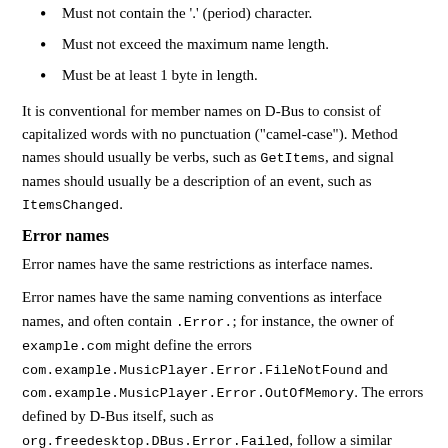Must not contain the '.' (period) character.
Must not exceed the maximum name length.
Must be at least 1 byte in length.
It is conventional for member names on D-Bus to consist of capitalized words with no punctuation ("camel-case"). Method names should usually be verbs, such as GetItems, and signal names should usually be a description of an event, such as ItemsChanged.
Error names
Error names have the same restrictions as interface names.
Error names have the same naming conventions as interface names, and often contain .Error.; for instance, the owner of example.com might define the errors com.example.MusicPlayer.Error.FileNotFound and com.example.MusicPlayer.Error.OutOfMemory. The errors defined by D-Bus itself, such as org.freedesktop.DBus.Error.Failed, follow a similar pattern.
Message Types